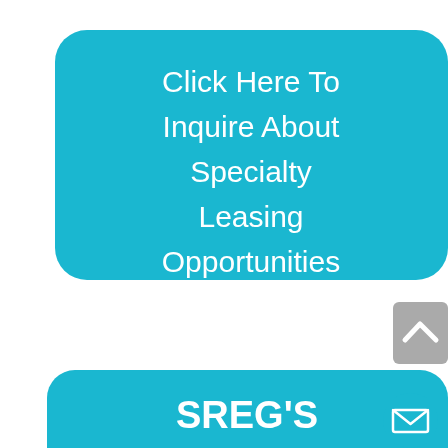[Figure (other): Teal rounded rectangle button with white text reading 'Click Here To Inquire About Specialty Leasing Opportunities']
[Figure (other): Gray upward arrow button (scroll-to-top UI element) partially visible at right edge]
[Figure (other): Teal rounded rectangle with bold white text 'SREG'S OPERATIONAL' visible, with a teal circle email icon button at lower right]